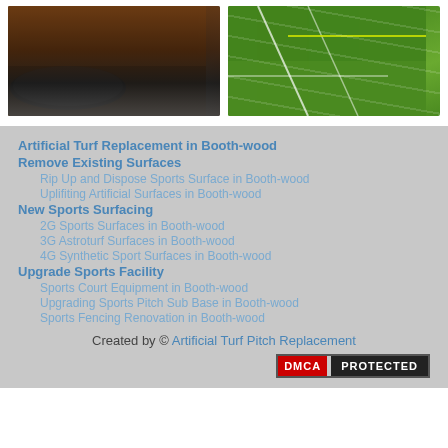[Figure (photo): Photo of rolled artificial turf material, dark black/brown roll on wooden surface]
[Figure (photo): Aerial photo of green artificial sports pitch with white and yellow line markings]
Artificial Turf Replacement in Booth-wood
Remove Existing Surfaces
Rip Up and Dispose Sports Surface in Booth-wood
Uplifiting Artificial Surfaces in Booth-wood
New Sports Surfacing
2G Sports Surfaces in Booth-wood
3G Astroturf Surfaces in Booth-wood
4G Synthetic Sport Surfaces in Booth-wood
Upgrade Sports Facility
Sports Court Equipment in Booth-wood
Upgrading Sports Pitch Sub Base in Booth-wood
Sports Fencing Renovation in Booth-wood
Created by © Artificial Turf Pitch Replacement
[Figure (other): DMCA Protected badge]